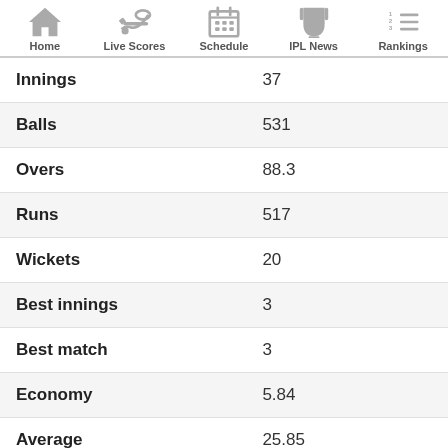Home | Live Scores | Schedule | IPL News | Rankings
| Stat | Value |
| --- | --- |
| Innings | 37 |
| Balls | 531 |
| Overs | 88.3 |
| Runs | 517 |
| Wickets | 20 |
| Best innings | 3 |
| Best match | 3 |
| Economy | 5.84 |
| Average | 25.85 |
| Strike rate | 26.5 |
| 4 wickets | 0 |